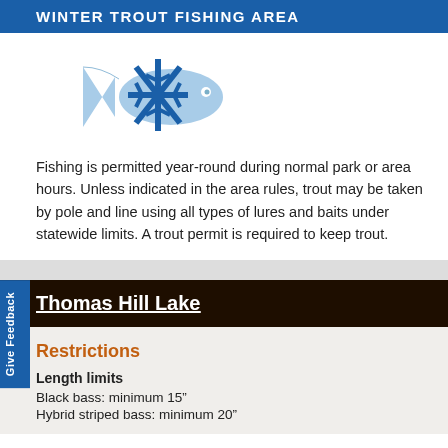WINTER TROUT FISHING AREA
[Figure (illustration): Blue snowflake overlapping a light blue fish silhouette icon representing winter trout fishing]
Fishing is permitted year-round during normal park or area hours. Unless indicated in the area rules, trout may be taken by pole and line using all types of lures and baits under statewide limits. A trout permit is required to keep trout.
Thomas Hill Lake
Restrictions
Length limits
Black bass: minimum 15"
Hybrid striped bass: minimum 20"